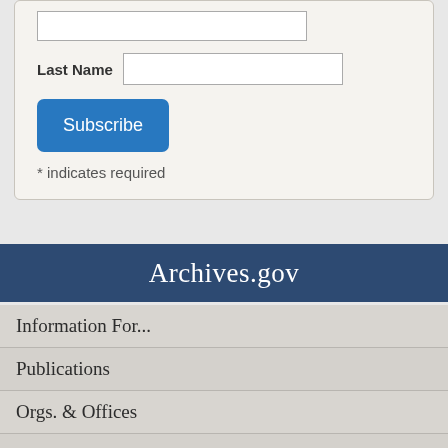Last Name
Subscribe
* indicates required
Archives.gov
Information For...
Publications
Orgs. & Offices
About Us
I Want To...